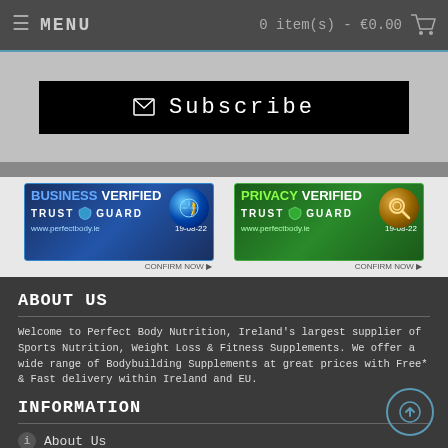MENU   0 item(s) - €0.00
[Figure (screenshot): Black Subscribe button with envelope icon]
[Figure (screenshot): Business Verified Trust Guard badge for www.perfectbody.ie dated 19-08-22 with CONFIRM NOW link]
[Figure (screenshot): Privacy Verified Trust Guard badge for www.perfectbody.ie dated 19-08-22 with CONFIRM NOW link]
ABOUT US
Welcome to Perfect Body Nutrition, Ireland's largest supplier of Sports Nutrition, Weight Loss & Fitness Supplements. We offer a wide range of Bodybuilding Supplements at great prices with Free* & Fast delivery within Ireland and EU.
INFORMATION
About Us